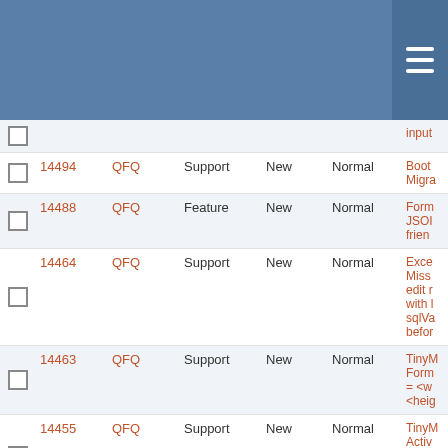|  | ID | Project | Type | Status | Priority | Title |
| --- | --- | --- | --- | --- | --- | --- |
|  |  |  |  |  |  | input |
| ☐ | 14494 | QFQ | Support | New | Normal | Boot Migra |
| ☐ | 14488 | QFQ | Feature | New | Normal | Form JSON frien |
| ☐ | 14464 | QFQ | Support | New | Normal | Exce Miss edit r with l sqlVa befor |
| ☐ | 14463 | QFQ | Support | New | Normal | TinyM Form = <w <heig |
| ☐ | 14455 | QFQ | Support | New | Normal | TinyM Activ butto uploa over |
| ☐ | 14395 | QFQ | Support | New | Normal | Form Virtu |